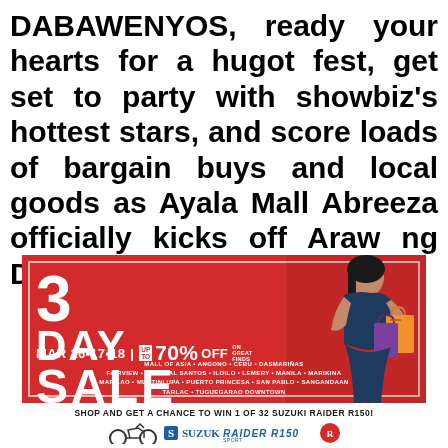DABAWENYOS, ready your hearts for a hugot fest, get set to party with showbiz's hottest stars, and score loads of bargain buys and local goods as Ayala Mall Abreeza officially kicks off Araw ng Dabaw week.
[Figure (illustration): Advertisement for a 3 Day Sale on Mar 16, 17, 18 with up to 70% off on great finds. Features a model carrying shopping bags on a red background. Lists mall locations: Mall of Asia, Angono, Cebu, Dasmariñas, Fairview, General Santos, Iloilo, Lemery, Manila, Marikina, Marilao, Muntinlupa, Puerto Princesa, San Pablo, Sangandaan, Tarlac, Tuguegarao Downtown.]
SHOP AND GET A CHANCE TO WIN 1 OF 32 SUZUKI RAIDER R150!
[Figure (logo): Suzuki Raider R150 logo with motorcycle silhouette]